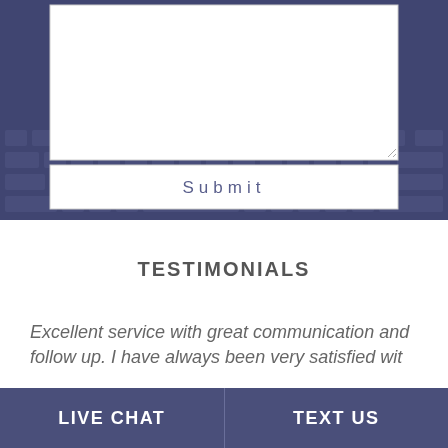[Figure (screenshot): Dark blue/purple tinted keyboard background image with a white textarea input box and a Submit button overlay]
TESTIMONIALS
Excellent service with great communication and follow up. I have always been very satisfied wit
LIVE CHAT   TEXT US